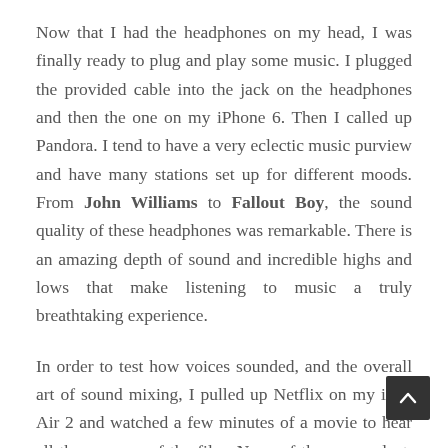Now that I had the headphones on my head, I was finally ready to plug and play some music. I plugged the provided cable into the jack on the headphones and then the one on my iPhone 6. Then I called up Pandora. I tend to have a very eclectic music purview and have many stations set up for different moods. From John Williams to Fallout Boy, the sound quality of these headphones was remarkable. There is an amazing depth of sound and incredible highs and lows that make listening to music a truly breathtaking experience.
In order to test how voices sounded, and the overall art of sound mixing, I pulled up Netflix on my iPad Air 2 and watched a few minutes of a movie to hear all the nuances of the film. None of them were lost. In fact, I ended up hearing sounds that I hadn't heard before. Echoes...birds chirping...wind blowing through trees...breathing of the characters...it was very impressive what the headphones